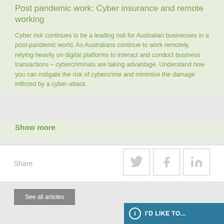Post pandemic work: Cyber insurance and remote working
Cyber risk continues to be a leading risk for Australian businesses in a post-pandemic world. As Australians continue to work remotely, relying heavily on digital platforms to interact and conduct business transactions – cybercriminals are taking advantage. Understand how you can mitigate the risk of cybercrime and minimise the damage inflicted by a cyber-attack.
Show more
Share
[Figure (other): Social media share buttons: Twitter, Facebook, LinkedIn]
See all articles
I'D LIKE TO...